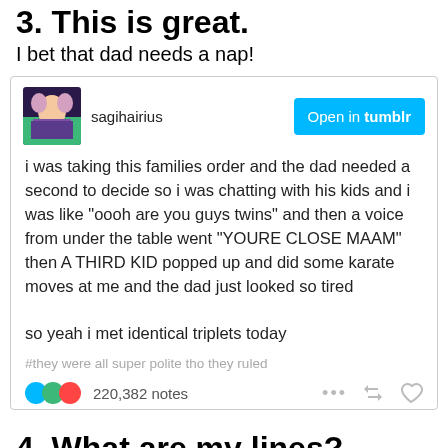3. This is great.
I bet that dad needs a nap!
[Figure (screenshot): Tumblr post by sagihairius with 'Open in tumblr' button, avatar image, post text about identical triplets, hashtag, and 220,382 notes]
4. What are my lines?
I'm not ready for this!